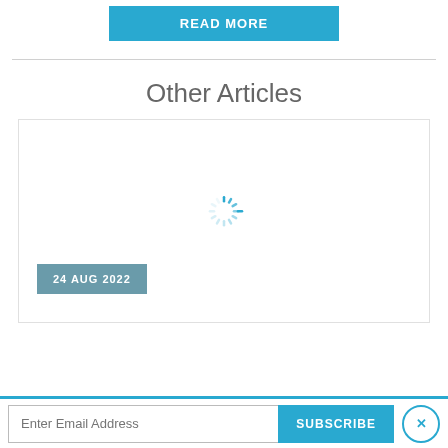READ MORE
Other Articles
[Figure (screenshot): Article card with a loading spinner (circular dashed loader) and a date badge reading '24 AUG 2022' on a teal/grey background in the lower-left corner of the card.]
24 AUG 2022
Enter Email Address  SUBSCRIBE  ×